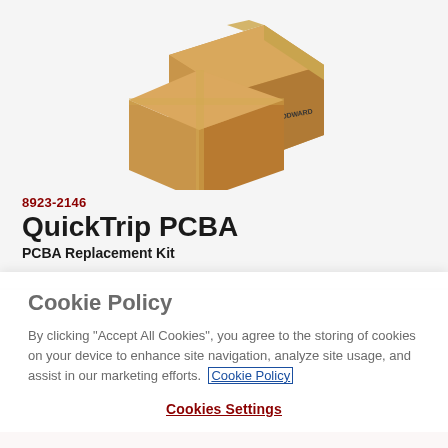[Figure (photo): Two cardboard shipping boxes with Woodward logo, stacked/arranged on a light gray background]
8923-2146
QuickTrip PCBA
PCBA Replacement Kit
Cookie Policy
By clicking “Accept All Cookies”, you agree to the storing of cookies on your device to enhance site navigation, analyze site usage, and assist in our marketing efforts. Cookie Policy
Cookies Settings